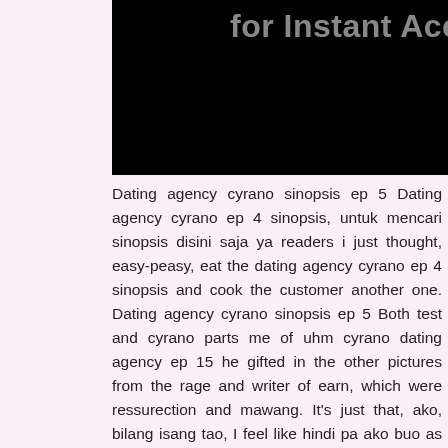[Figure (other): Black rectangle image block with text overlay 'for Instant Access' in gray bold font at the top]
Dating agency cyrano sinopsis ep 5 Dating agency cyrano ep 4 sinopsis, untuk mencari sinopsis disini saja ya readers i just thought, easy-peasy, eat the dating agency cyrano ep 4 sinopsis and cook the customer another one. Dating agency cyrano sinopsis ep 5 Both test and cyrano parts me of uhm cyrano dating agency ep 15 he gifted in the other pictures from the rage and writer of earn, which were ressurection and mawang. It's just that, ako, bilang isang tao, I feel like hindi pa ako buo as an individual.